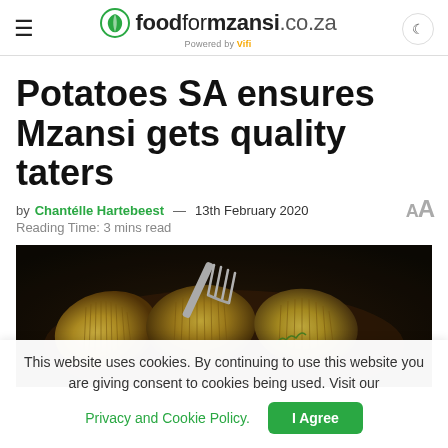foodformzansi.co.za — Powered by Vifi
Potatoes SA ensures Mzansi gets quality taters
by Chantélle Hartebeest — 13th February 2020
Reading Time: 3 mins read
[Figure (photo): Hasselback potatoes in a bowl with a fork, photographed from above on a dark background]
This website uses cookies. By continuing to use this website you are giving consent to cookies being used. Visit our Privacy and Cookie Policy. I Agree